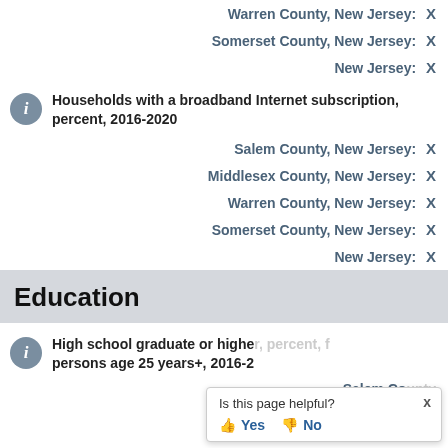Warren County, New Jersey: X
Somerset County, New Jersey: X
New Jersey: X
Households with a broadband Internet subscription, percent, 2016-2020
Salem County, New Jersey: X
Middlesex County, New Jersey: X
Warren County, New Jersey: X
Somerset County, New Jersey: X
New Jersey: X
Education
High school graduate or higher, percent, persons age 25 years+, 2016-2020
Salem County, New Jersey: X